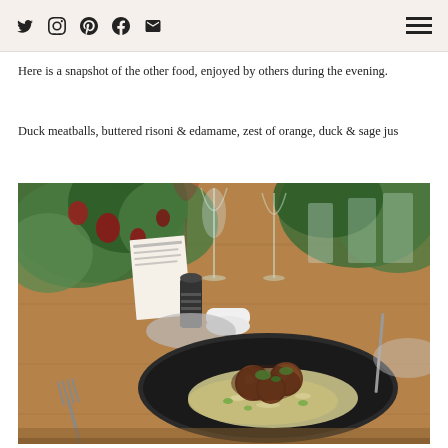Social media icons and navigation menu
Here is a snapshot of the other food, enjoyed by others during the evening.
Duck meatballs, buttered risoni & edamame, zest of orange, duck & sage jus
[Figure (photo): A restaurant dining table with a dark plate of duck meatballs on buttered risoni with edamame and sage, surrounded by glassware, flowers, a pepper grinder, and cutlery.]